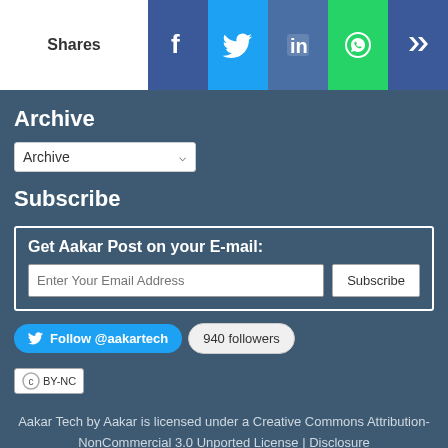[Figure (infographic): Social sharing bar with Shares label, Facebook (blue), Twitter (light blue), LinkedIn (dark blue), WhatsApp (green), and Kred (blue) icons]
Archive
Archive (dropdown selector)
Subscribe
Get Aakar Post on your E-mail: [Enter Your Email Address] [Subscribe button]
[Figure (infographic): Twitter Follow @aakartech button and 940 followers badge]
[Figure (logo): Creative Commons BY-NC license badge]
Aakar Tech by Aakar is licensed under a Creative Commons Attribution-NonCommercial 3.0 Unported License | Disclosure